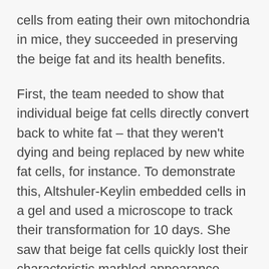cells from eating their own mitochondria in mice, they succeeded in preserving the beige fat and its health benefits.
First, the team needed to show that individual beige fat cells directly convert back to white fat – that they weren't dying and being replaced by new white fat cells, for instance. To demonstrate this, Altshuler-Keylin embedded cells in a gel and used a microscope to track their transformation for 10 days. She saw that beige fat cells quickly lost their characteristic marbled appearance, developing the single large droplet of oily lipid typical of white fat cells.
“So we knew beige fat tends to disappear, but